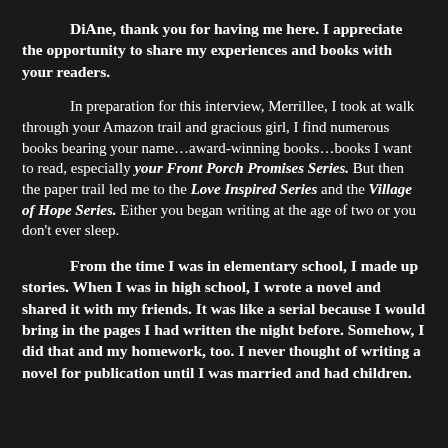DiAne, thank you for having me here. I appreciate the opportunity to share my experiences and books with your readers.
In preparation for this interview, Merrillee, I took at walk through your Amazon trail and gracious girl, I find numerous books bearing your name…award-winning books…books I want to read, especially your Front Porch Promises Series. But then the paper trail led me to the Love Inspired Series and the Village of Hope Series. Either you began writing at the age of two or you don't ever sleep.
From the time I was in elementary school, I made up stories. When I was in high school, I wrote a novel and shared it with my friends. It was like a serial because I would bring in the pages I had written the night before. Somehow, I did that and my homework, too. I never thought of writing a novel for publication until I was married and had children.